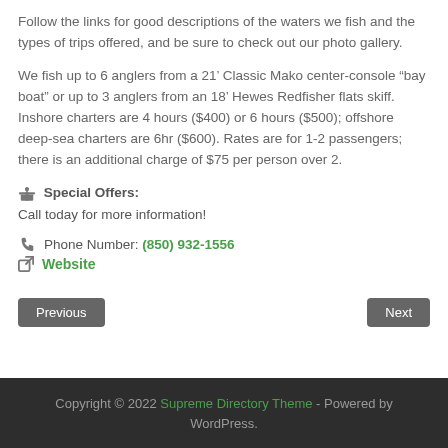Follow the links for good descriptions of the waters we fish and the types of trips offered, and be sure to check out our photo gallery.
We fish up to 6 anglers from a 21’ Classic Mako center-console “bay boat” or up to 3 anglers from an 18’ Hewes Redfisher flats skiff. Inshore charters are 4 hours ($400) or 6 hours ($500); offshore deep-sea charters are 6hr ($600). Rates are for 1-2 passengers; there is an additional charge of $75 per person over 2.
Special Offers:
Call today for more information!
Phone Number: (850) 932-1556
Website
Copyright © 2022 Supreme Directory Theme - Powered by WordPress.